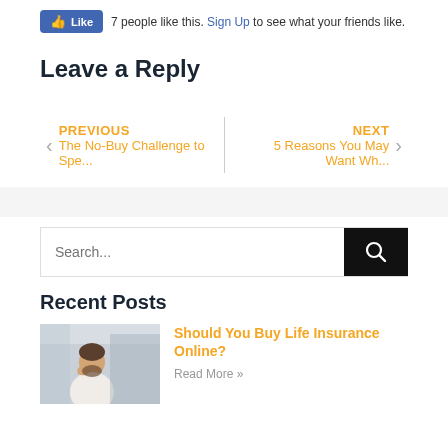[Figure (other): Facebook Like button widget showing '7 people like this. Sign Up to see what your friends like.']
Leave a Reply
PREVIOUS
The No-Buy Challenge to Spe...
NEXT
5 Reasons You May Want Wh...
[Figure (other): Search bar with black search button]
Recent Posts
[Figure (photo): Man sitting at desk, thinking or stressed, wearing white sweater]
Should You Buy Life Insurance Online?
Read More »